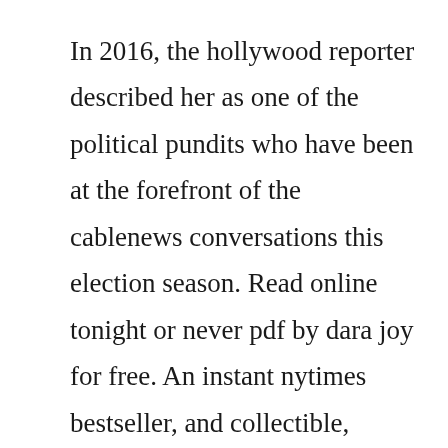In 2016, the hollywood reporter described her as one of the political pundits who have been at the forefront of the cablenews conversations this election season. Read online tonight or never pdf by dara joy for free. An instant nytimes bestseller, and collectible, tonight or never is the laugh out. Matrix of destiny book 6 kindle edition by dara joy author visit amazons dara joy page. Joy behar had a good run on the view before leaving on her own terms this past august. Tonight or never by dara joy 1999, paperback,